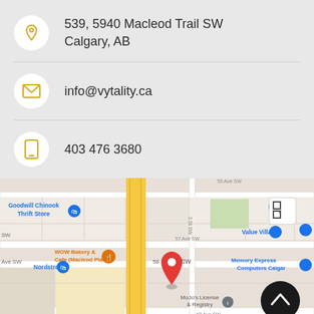539, 5940 Macleod Trail SW
Calgary, AB
info@vytality.ca
403 476 3680
[Figure (map): Google Maps screenshot showing the area around 5940 Macleod Trail SW, Calgary, AB. Visible landmarks include Goodwill Chinook Thrift Store, WOW Bakery & Cafe (Macleod Plaza), Nordstrom, Value Village, Memory Express Computers Calgary, MoJo's License & Registry, CF Chinook Centre, and Crane Supply. A red location pin marks the business location near 58 Ave SW. Street labels include 57 Ave SW, 60 Ave SW, 3 St SW.]